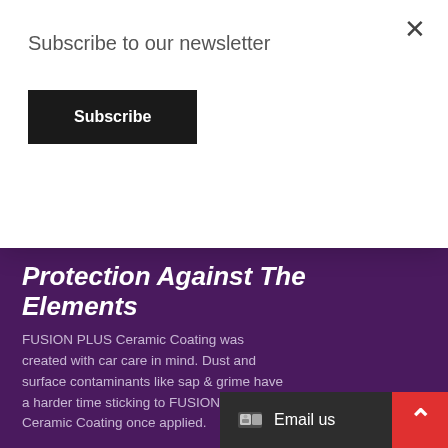Subscribe to our newsletter
Subscribe
Protection Against The Elements
FUSION PLUS Ceramic Coating was created with car care in mind. Dust and surface contaminants like sap & grime have a harder time sticking to FUSION PLUS Ceramic Coating once applied.
4 Year Warranty
Your application of XPEL FUSION PLUS Ceramic Coating is guaranteed for 4 years from initial installation. Alr Contact us about register